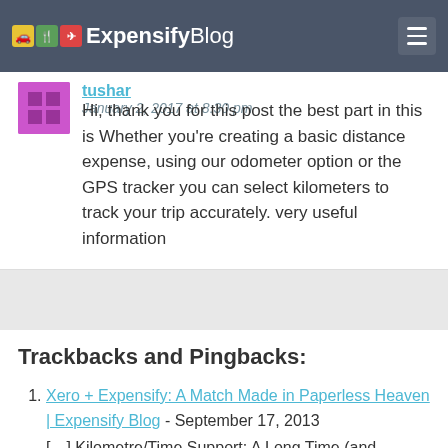Expensify Blog
tushar January 2, 2017 at 8:30 pm
Hi, thank you for this post the best part in this is Whether you’re creating a basic distance expense, using our odometer option or the GPS tracker you can select kilometers to track your trip accurately. very useful information
Trackbacks and Pingbacks:
Xero + Expensify: A Match Made in Paperless Heaven | Expensify Blog - September 17, 2013
[…] Kilometre/Time Support: A Long Time (and Distance) Coming (expensify.com) […]